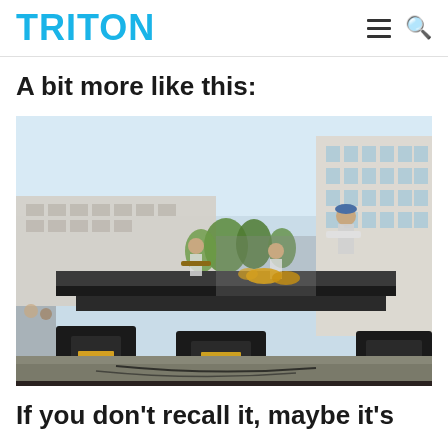TRITON
A bit more like this:
[Figure (photo): Outdoor band performance on a stage in a university campus setting. Musicians playing guitar and drums on a raised stage with monitor speakers in the foreground. Modern campus buildings visible in the background under a clear sky.]
If you don't recall it, maybe it's